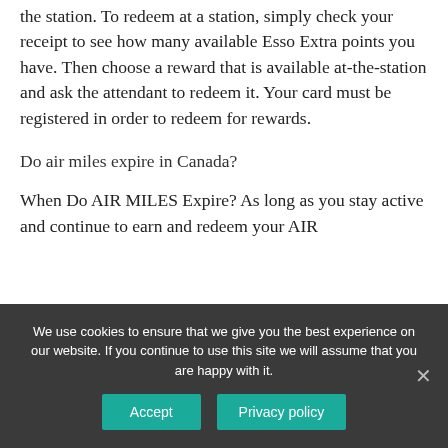the station. To redeem at a station, simply check your receipt to see how many available Esso Extra points you have. Then choose a reward that is available at-the-station and ask the attendant to redeem it. Your card must be registered in order to redeem for rewards.
Do air miles expire in Canada?
When Do AIR MILES Expire? As long as you stay active and continue to earn and redeem your AIR
We use cookies to ensure that we give you the best experience on our website. If you continue to use this site we will assume that you are happy with it.
Accept
Privacy policy